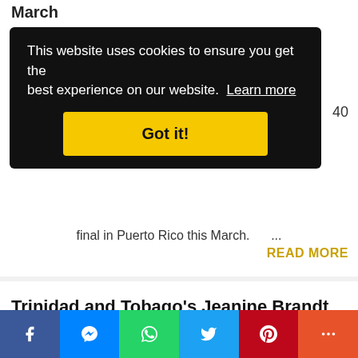March
This website uses cookies to ensure you get the best experience on our website. Learn more
Got it!
40
final in Puerto Rico this March. ...
READ MORE
Trinidad and Tobago's Jeanine Brandt releases statement on controversial Miss World video
Wednesday, January 19, 2022
f  [messenger]  [whatsapp]  [twitter]  p  +